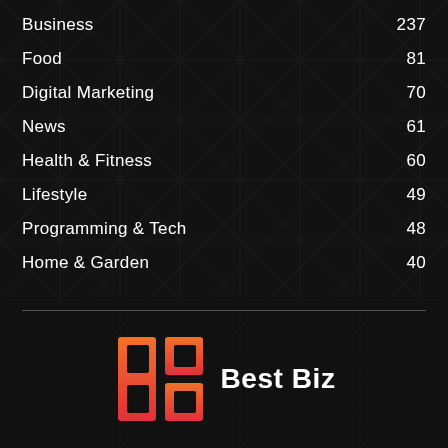Business  237
Food  81
Digital Marketing  70
News  61
Health & Fitness  60
Lifestyle  49
Programming & Tech  48
Home & Garden  40
[Figure (logo): B3 Best Biz logo — stylized B3 letters in orange-to-red gradient with 'Best Biz' text in white]